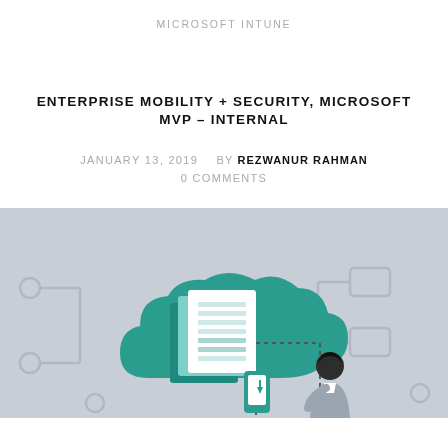MICROSOFT INTUNE
ENTERPRISE MOBILITY + SECURITY, MICROSOFT MVP - INTERNAL
JANUARY 13, 2019   BY REZWANUR RAHMAN
0 COMMENTS
[Figure (illustration): Illustration of a teal cloud icon with document/file icons inside, connected by a dotted line to a person holding a mobile phone, on a light grey background with faint network/circuit elements.]